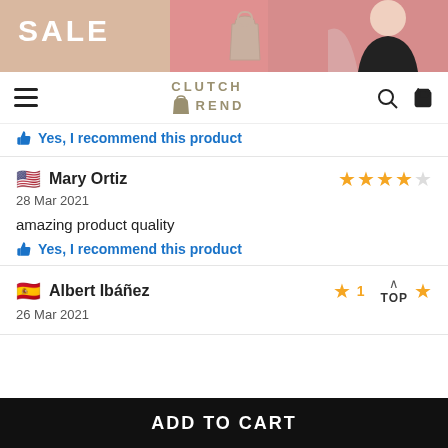[Figure (photo): Sale banner with pink background, woman with blonde hair, and a handbag]
CLUTCH REND – navigation header with hamburger menu, search, and cart icons
👍 Yes, I recommend this product
🇺🇸 Mary Ortiz – 4 stars – 28 Mar 2021 – amazing product quality – Yes, I recommend this product
🇪🇸 Albert Ibáñez – 1 star – 26 Mar 2021
ADD TO CART